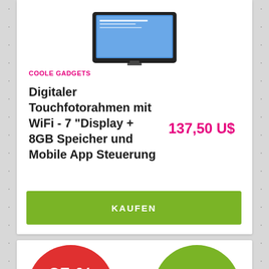[Figure (photo): Digital photo frame device shown at top of product card]
COOLE GADGETS
Digitaler Touchfotorahmen mit WiFi - 7 "Display + 8GB Speicher und Mobile App Steuerung
137,50 U$
KAUFEN
[Figure (infographic): Promotional banner with red circle showing 25% discount and strikethrough price 218,90 U$, green circle showing NEW, arrow pointing right, hands holding devices at bottom]